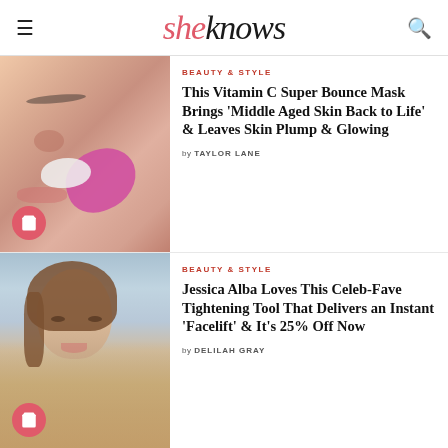sheknows
BEAUTY & STYLE
[Figure (photo): Close-up of a woman applying a white cream mask to her face with a pink beauty sponge/applicator]
This Vitamin C Super Bounce Mask Brings 'Middle Aged Skin Back to Life' & Leaves Skin Plump & Glowing
by TAYLOR LANE
BEAUTY & STYLE
[Figure (photo): Jessica Alba smiling, wearing a sparkly strapless dress at an event, photographed against a blue background]
Jessica Alba Loves This Celeb-Fave Tightening Tool That Delivers an Instant 'Facelift' & It's 25% Off Now
by DELILAH GRAY